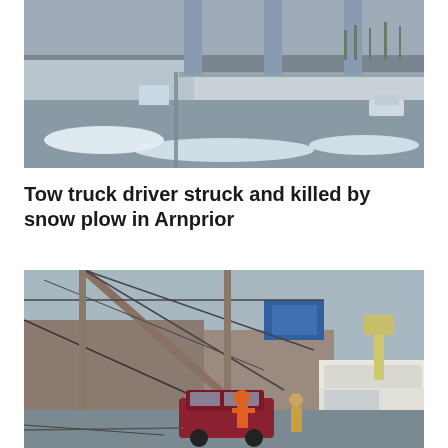[Figure (photo): Winter highway scene with snow-covered road, overpass bridge, and sparse traffic in cold grey weather.]
Tow truck driver struck and killed by snow plow in Arnprior
[Figure (photo): Street scene showing a downed utility/power pole leaning on a car, with electrical wires down across the road. An orange-clad worker and a firefighter are visible, along with a white utility truck with a bucket arm on the right side.]